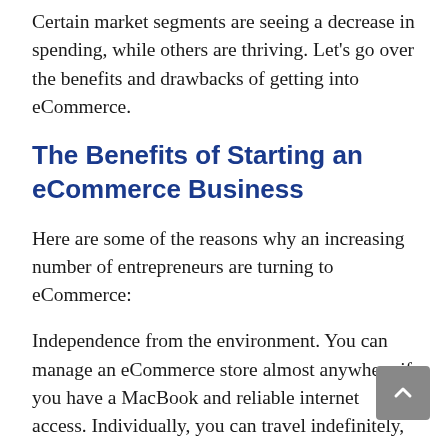Certain market segments are seeing a decrease in spending, while others are thriving. Let's go over the benefits and drawbacks of getting into eCommerce.
The Benefits of Starting an eCommerce Business
Here are some of the reasons why an increasing number of entrepreneurs are turning to eCommerce:
Independence from the environment. You can manage an eCommerce store almost anywhere if you have a MacBook and reliable internet access. Individually, you can travel indefinitely,